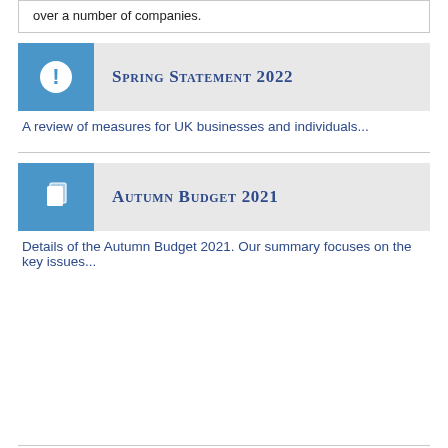over a number of companies.
Spring Statement 2022
A review of measures for UK businesses and individuals...
Autumn Budget 2021
Details of the Autumn Budget 2021. Our summary focuses on the key issues...